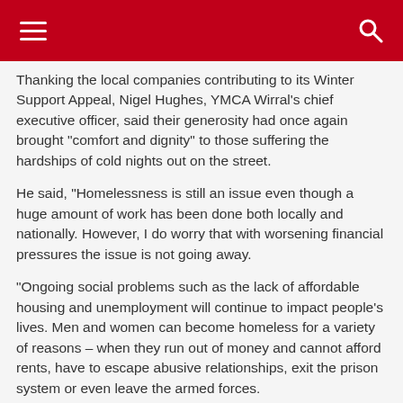Thanking the local companies contributing to its Winter Support Appeal, Nigel Hughes, YMCA Wirral's chief executive officer, said their generosity had once again brought “comfort and dignity” to those suffering the hardships of cold nights out on the street.
He said, “Homelessness is still an issue even though a huge amount of work has been done both locally and nationally. However, I do worry that with worsening financial pressures the issue is not going away.
“Ongoing social problems such as the lack of affordable housing and unemployment will continue to impact people’s lives. Men and women can become homeless for a variety of reasons – when they run out of money and cannot afford rents, have to escape abusive relationships, exit the prison system or even leave the armed forces.
“Although homelessness is particularly awful during the winter months, sadly it’s an all-year-round problem too as